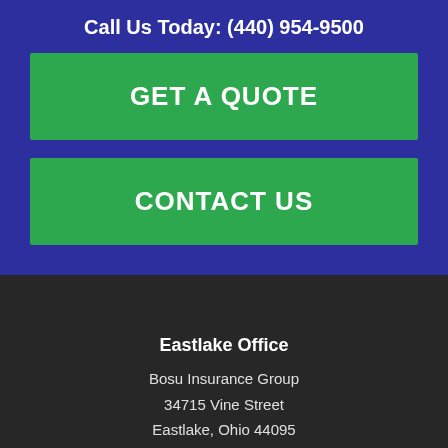Call Us Today: (440) 954-9500
GET A QUOTE
CONTACT US
Eastlake Office
Bosu Insurance Group
34715 Vine Street
Eastlake, Ohio 44095
Phone: (440) 954-9500
Fax: (440) 953-4477